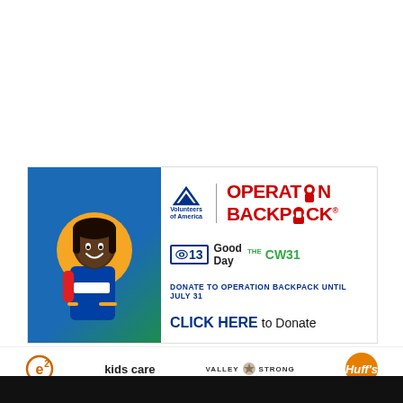[Figure (infographic): Operation Backpack donation advertisement banner featuring a smiling young girl with a backpack, Volunteers of America logo, CBS13, Good Day, and CW31 logos, and a call to donate by July 31]
DONATE TO OPERATION BACKPACK UNTIL JULY 31
CLICK HERE to Donate
[Figure (logo): Sponsor logos: e2, kids care, Valley Strong, Huffs (orange)]